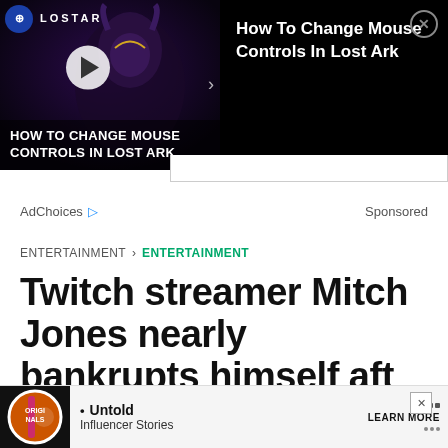[Figure (screenshot): Video ad thumbnail for Lost Ark game showing 'HOW TO CHANGE MOUSE CONTROLS IN LOST ARK' with dark fantasy character, play button overlay, and game logo]
How To Change Mouse Controls In Lost Ark
AdChoices ▷   Sponsored
ENTERTAINMENT > ENTERTAINMENT
Twitch streamer Mitch Jones nearly bankrupts himself aft...
[Figure (screenshot): Bottom banner ad showing Originals badge and 'Untold Influencer Stories' with LEARN MORE button]